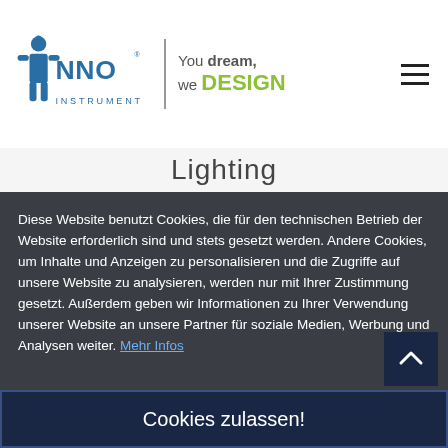[Figure (logo): INNO Instrument logo with tagline 'You dream, we DESIGN']
Lighting
Diese Website benutzt Cookies, die für den technischen Betrieb der Website erforderlich sind und stets gesetzt werden. Andere Cookies, um Inhalte und Anzeigen zu personalisieren und die Zugriffe auf unsere Website zu analysieren, werden nur mit Ihrer Zustimmung gesetzt. Außerdem geben wir Informationen zu Ihrer Verwendung unserer Website an unsere Partner für soziale Medien, Werbung und Analysen weiter. Mehr Infos
Cookies zulassen!